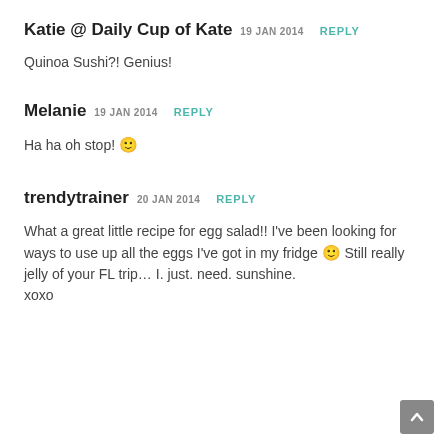Katie @ Daily Cup of Kate  19 JAN 2014  REPLY
Quinoa Sushi?! Genius!
Melanie  19 JAN 2014  REPLY
Ha ha oh stop! 🙂
trendytrainer  20 JAN 2014  REPLY
What a great little recipe for egg salad!! I've been looking for ways to use up all the eggs I've got in my fridge 🙂 Still really jelly of your FL trip… I. just. need. sunshine.
xoxo